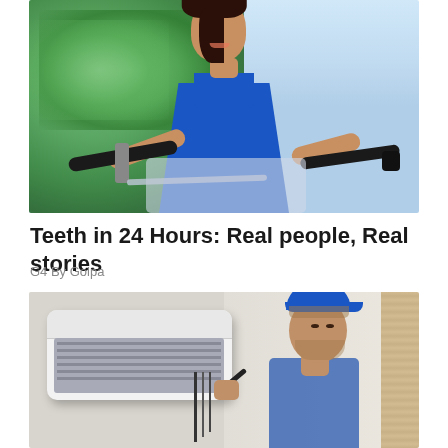[Figure (photo): Woman in blue sleeveless top smiling and riding a bicycle outdoors with green trees in the background]
Teeth in 24 Hours: Real people, Real stories
G4 By Golpa
[Figure (photo): HVAC technician in a blue cap repairing or servicing a wall-mounted air conditioning unit, working with tools on the open unit]